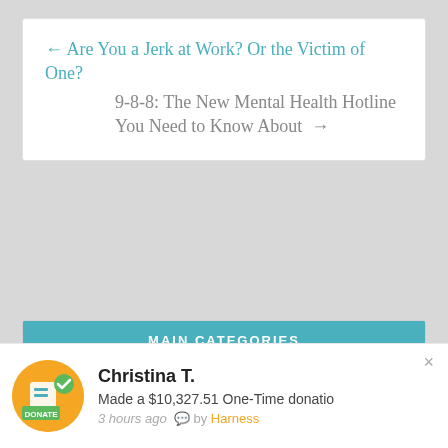← Are You a Jerk at Work? Or the Victim of One?
9-8-8: The New Mental Health Hotline You Need to Know About →
MAIN CATEGORIES
News and Helpful Articles
Will Power Newsletter
Christina T. Made a $10,327.51 One-Time donatio 3 hours ago by Harness